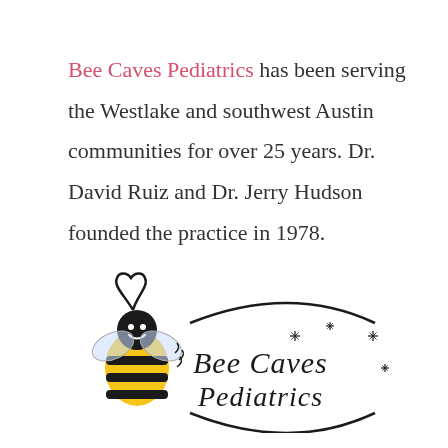Bee Caves Pediatrics has been serving the Westlake and southwest Austin communities for over 25 years. Dr. David Ruiz and Dr. Jerry Hudson founded the practice in 1978.
[Figure (logo): Bee Caves Pediatrics logo: a cartoon bee with yellow and black stripes, smiley face, heart-shaped antennae on left, and stylized text 'Bee Caves Pediatrics' in decorative font on right with sparkle/star accents]